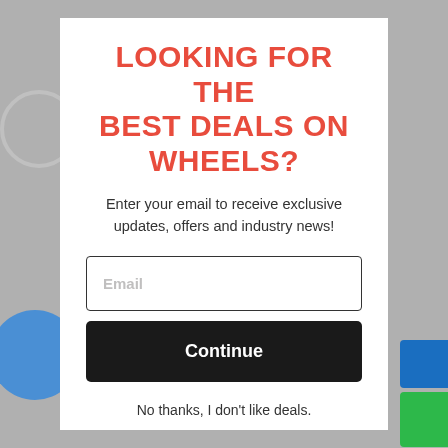LOOKING FOR THE BEST DEALS ON WHEELS?
Enter your email to receive exclusive updates, offers and industry news!
No thanks, I don't like deals.